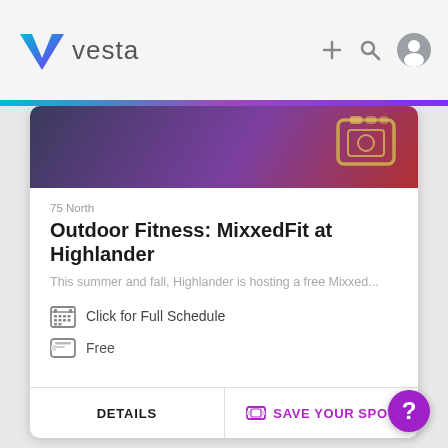[Figure (logo): Vesta logo with purple/blue V checkmark and 'vesta' wordmark]
[Figure (screenshot): App card showing Outdoor Fitness event at Highlander with schedule, ticket icons, and action buttons]
75 North
Outdoor Fitness: MixxedFit at Highlander
This summer and fall, Highlander is hosting a free Mixxed...
Click for Full Schedule
Free
DETAILS
SAVE YOUR SPOT